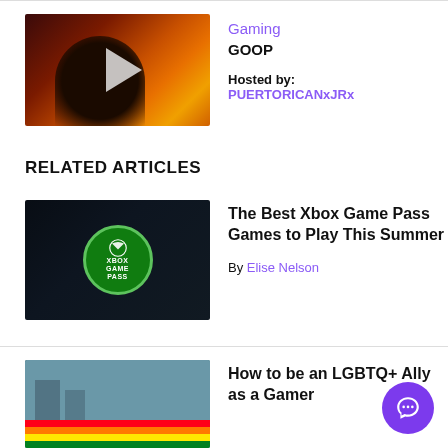[Figure (screenshot): Gaming stream thumbnail with silhouette figure in front of orange/red glowing screen with play button overlay]
Gaming
GOOP
Hosted by: PUERTORICANxJRx
RELATED ARTICLES
[Figure (screenshot): Xbox Game Pass logo on dark background]
The Best Xbox Game Pass Games to Play This Summer
By Elise Nelson
[Figure (photo): Pride flags and people, partially visible]
How to be an LGBTQ+ Ally as a Gamer